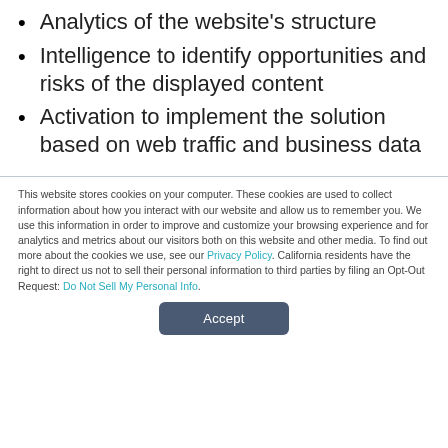Analytics of the website's structure
Intelligence to identify opportunities and risks of the displayed content
Activation to implement the solution based on web traffic and business data
This website stores cookies on your computer. These cookies are used to collect information about how you interact with our website and allow us to remember you. We use this information in order to improve and customize your browsing experience and for analytics and metrics about our visitors both on this website and other media. To find out more about the cookies we use, see our Privacy Policy. California residents have the right to direct us not to sell their personal information to third parties by filing an Opt-Out Request: Do Not Sell My Personal Info.
Accept